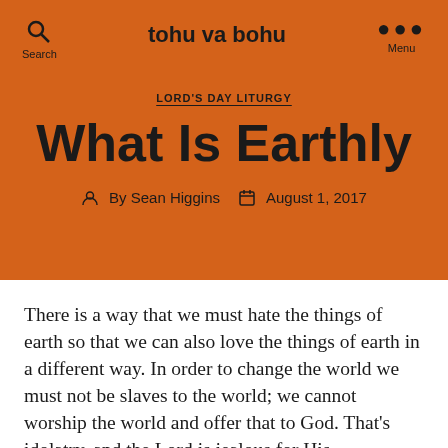tohu va bohu
LORD'S DAY LITURGY
What Is Earthly
By Sean Higgins   August 1, 2017
There is a way that we must hate the things of earth so that we can also love the things of earth in a different way. In order to change the world we must not be slaves to the world; we cannot worship the world and offer that to God. That's idolatry, and the Lord is jealous for His